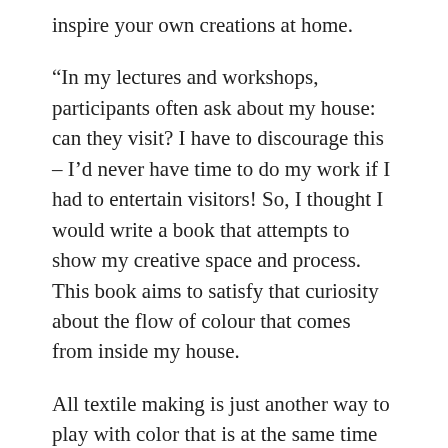inspire your own creations at home.
“In my lectures and workshops, participants often ask about my house: can they visit? I have to discourage this – I’d never have time to do my work if I had to entertain visitors! So, I thought I would write a book that attempts to show my creative space and process. This book aims to satisfy that curiosity about the flow of colour that comes from inside my house.
All textile making is just another way to play with color that is at the same time deeply therapeutic to do. To sit at the end of my studio, surrounded by yarn or piles of fabric, and dream up a new design is what satisfies my soul.
I’ve been fascinated by the different patterns and color palettes mingling together in cultures – with that love of pattern, I’ve created strong patterns across multiple